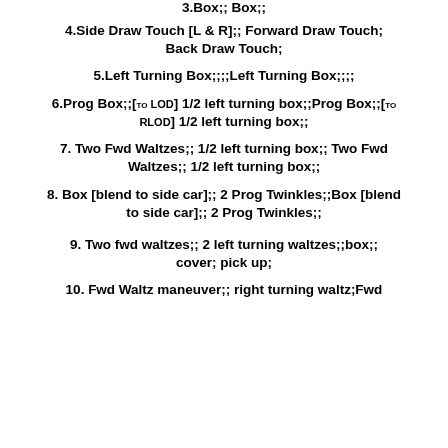3.Box;; Box;;
4.Side Draw Touch [L & R];;   Forward Draw Touch; Back Draw Touch;
5.Left Turning Box;;;;Left Turning Box;;;;
6.Prog Box;;[to LOD] 1/2 left turning box;;Prog Box;;[to RLOD] 1/2 left turning box;;
7. Two Fwd Waltzes;; 1/2 left turning box;; Two Fwd Waltzes;; 1/2 left turning box;;
8. Box [blend to side car];; 2 Prog Twinkles;;Box [blend to side car];; 2 Prog Twinkles;;
9. Two fwd waltzes;; 2 left turning waltzes;;box;; cover; pick up;
10. Fwd Waltz maneuver;; right turning waltz;Fwd...